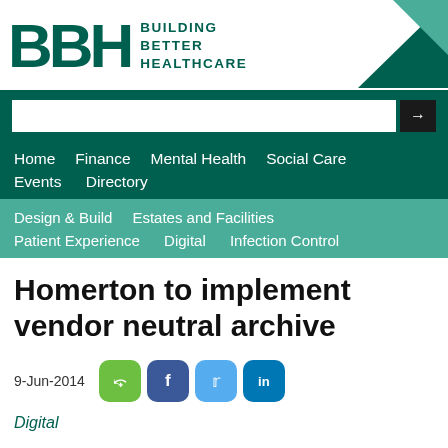[Figure (logo): BBH - Building Better Healthcare logo with teal lettering and decorative triangles]
Home  Finance  Mental Health  Social Care  Events  Directory  Design & Build  Estates and Facilities  Patient Experience  Digital  Infection Control
Homerton to implement vendor neutral archive
9-Jun-2014
Digital